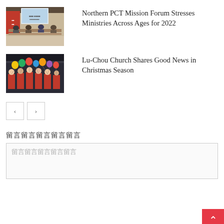[Figure (photo): Meeting room scene with people seated at tables facing a presentation screen, red backdrop visible]
Northern PCT Mission Forum Stresses Ministries Across Ages for 2022
[Figure (photo): Children and people in red shirts holding colorful balloons in a large indoor space]
Lu-Chou Church Shares Good News in Christmas Season
< >
留言留言留言留言留言
留言留言留言留言留言